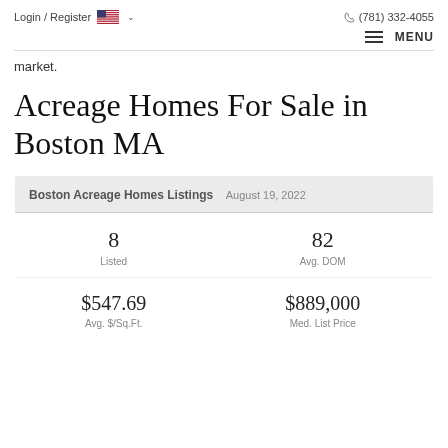Login / Register  (781) 332-4055
MENU
market.
Acreage Homes For Sale in Boston MA
| Boston Acreage Homes Listings  August 19, 2022 |  |
| --- | --- |
| 8
Listed | 82
Avg. DOM |
| $547.69
Avg. $/Sq.Ft. | $889,000
Med. List Price |